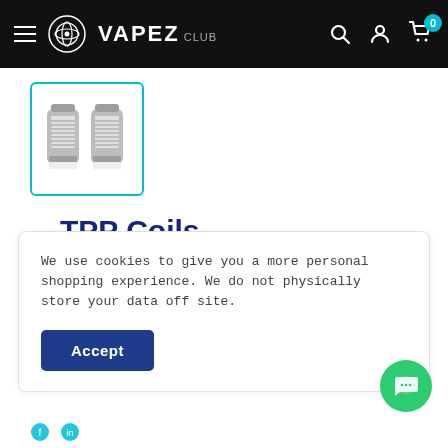VAPEZ CLUB - Navigation header with hamburger menu, logo, search, account, and cart icons
[Figure (photo): Product thumbnail showing two TPP coils (cylindrical metal vape coils) inside a teal-bordered box]
TPP Coils
VOOPOO
We use cookies to give you a more personal shopping experience. We do not physically store your data off site.
Accept